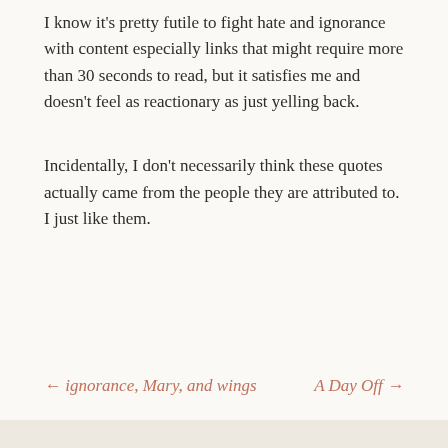I know it's pretty futile to fight hate and ignorance with content especially links that might require more than 30 seconds to read, but it satisfies me and doesn't feel as reactionary as just yelling back.
Incidentally, I don't necessarily think these quotes actually came from the people they are attributed to. I just like them.
← ignorance, Mary, and wings    A Day Off →